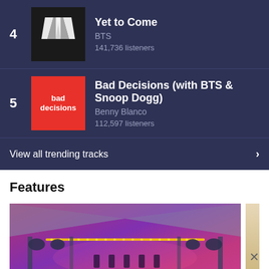4 - Yet to Come - BTS - 141,736 listeners
5 - Bad Decisions (with BTS & Snoop Dogg) - Benny Blanco - 112,597 listeners
View all trending tracks
Features
[Figure (photo): Concert stage photo with red/purple stage lighting, trusses, spotlights, and partial text 'DLES' visible at bottom. Features section image.]